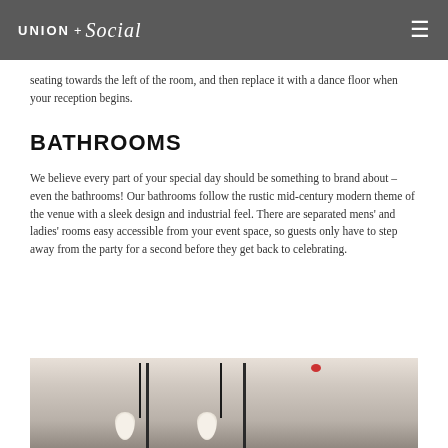UNION + Social
seating towards the left of the room, and then replace it with a dance floor when your reception begins.
BATHROOMS
We believe every part of your special day should be something to brand about – even the bathrooms! Our bathrooms follow the rustic mid-century modern theme of the venue with a sleek design and industrial feel. There are separated mens' and ladies' rooms easy accessible from your event space, so guests only have to step away from the party for a second before they get back to celebrating.
[Figure (photo): Interior photo of a bathroom showing mirrors with industrial-style light fixtures mounted on black metal bars against a white tiled wall. A red smoke detector is visible on the ceiling.]